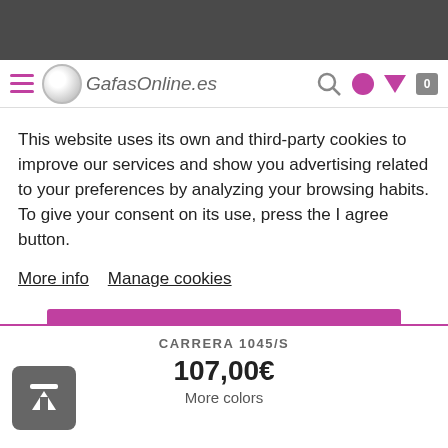[Figure (screenshot): GafasOnline.es website navigation bar with logo, search icon, user icon, cart icon]
This website uses its own and third-party cookies to improve our services and show you advertising related to your preferences by analyzing your browsing habits. To give your consent on its use, press the I agree button.
More info   Manage cookies
I agree
CARRERA 1045/S
107,00€
More colors